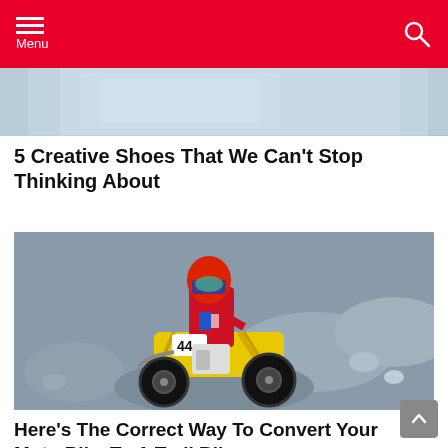Menu
[Figure (photo): Partial view of a shoe or product image, cropped at top]
5 Creative Shoes That We Can't Stop Thinking About
[Figure (photo): Motocross rider wearing red gear and helmet riding a yellow dirt bike, number 44, airborne over rocky terrain]
Here's The Correct Way To Convert Your Moto Bike To A Trail Bike